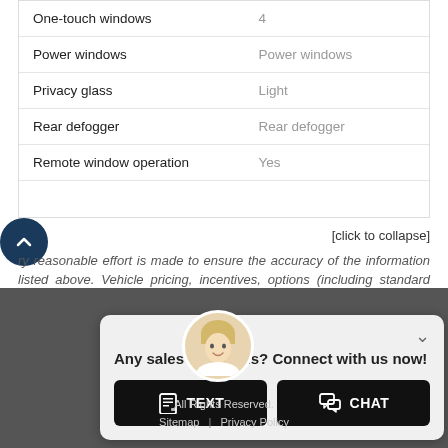| Feature | Value |
| --- | --- |
| One-touch windows | 4 |
| Power windows | Power windows |
| Privacy glass | Light |
| Rear defogger | Rear defogger |
| Remote window operation | Yes |
[click to collapse]
Every reasonable effort is made to ensure the accuracy of the information listed above. Vehicle pricing, incentives, options (including standard equipment), and technical specifications listed is for the 2017 Lexus GS 350 may not match exact vehicle displayed. Please confirm with a sales representative the accuracy of this information.
Any sales questions? Connect with us now!
TEXT
CHAT
All Rights Reserved.
Sitemap | Privacy Policy